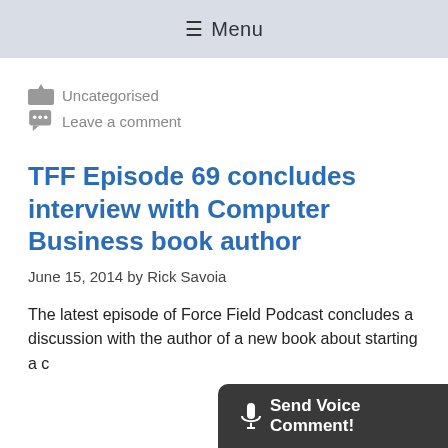≡ Menu
📁 Uncategorised
💬 Leave a comment
TFF Episode 69 concludes interview with Computer Business book author
June 15, 2014 by Rick Savoia
The latest episode of Force Field Podcast concludes a discussion with the author of a new book about starting a c…
🎤 Send Voice Comment!